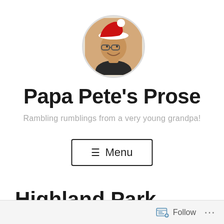[Figure (photo): Circular avatar photo of a smiling man wearing glasses and a red and white Santa hat, with a white background.]
Papa Pete’s Prose
Rambling rumblings from a very young grandpa!
≡ Menu
Highland Park
Follow …